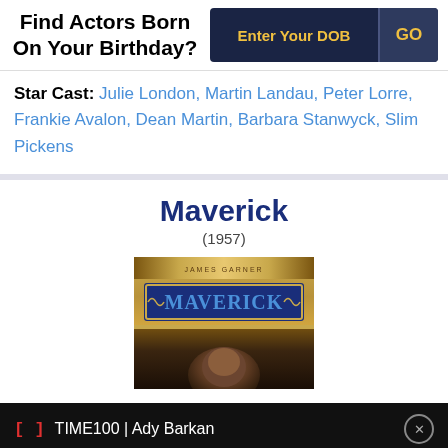Find Actors Born On Your Birthday?
Star Cast: Julie London, Martin Landau, Peter Lorre, Frankie Avalon, Dean Martin, Barbara Stanwyck, Slim Pickens
Maverick
(1957)
[Figure (photo): Movie poster for Maverick (1957) showing ornate gold border with MAVERICK text in blue on dark background with a face partially visible at bottom]
TIME100 | Ady Barkan